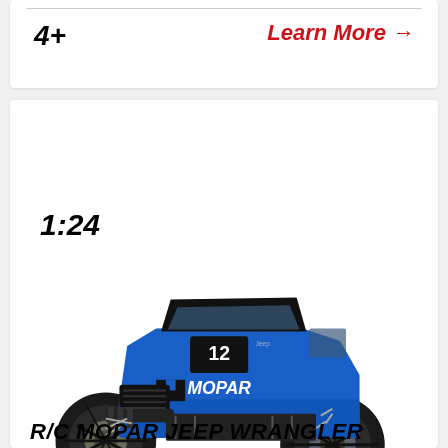4+
Learn More →
1:24
[Figure (photo): Blue R/C Mopar Jeep Wrangler monster truck toy car with oversized black tires and chrome suspension, viewed from front-left angle]
R/C MOPAR JEEP WRANGLER